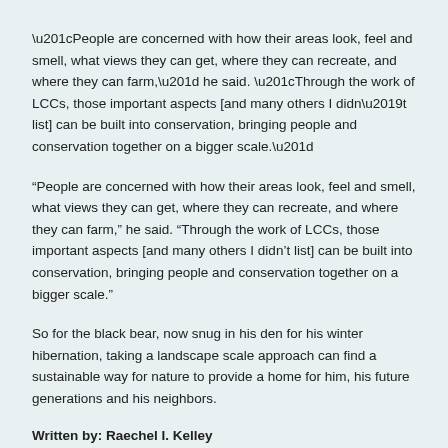“People are concerned with how their areas look, feel and smell, what views they can get, where they can recreate, and where they can farm,” he said. “Through the work of LCCs, those important aspects [and many others I didn’t list] can be built into conservation, bringing people and conservation together on a bigger scale.”
So for the black bear, now snug in his den for his winter hibernation, taking a landscape scale approach can find a sustainable way for nature to provide a home for him, his future generations and his neighbors.
Written by: Raechel I. Kelley
Read more from this series!
Share this: